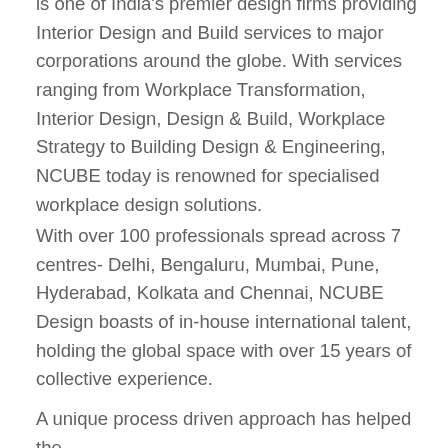is one of India's premier design firms providing Interior Design and Build services to major corporations around the globe. With services ranging from Workplace Transformation, Interior Design, Design & Build, Workplace Strategy to Building Design & Engineering, NCUBE today is renowned for specialised workplace design solutions.
With over 100 professionals spread across 7 centres- Delhi, Bengaluru, Mumbai, Pune, Hyderabad, Kolkata and Chennai, NCUBE Design boasts of in-house international talent, holding the global space with over 15 years of collective experience.
A unique process driven approach has helped the